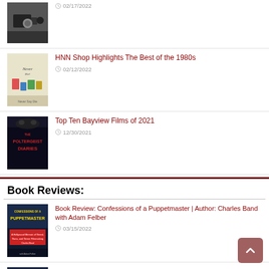02/17/2022
HNN Shop Highlights The Best of the 1980s | 02/12/2022
Top Ten Bayview Films of 2021 | 12/30/2021
Book Reviews:
Book Review: Confessions of a Puppetmaster | Author: Charles Band with Adam Felber | 03/15/2022
Book Review: Liar: Memoir of a Haunting | Author E.F. Schraeder | 02/02/2022